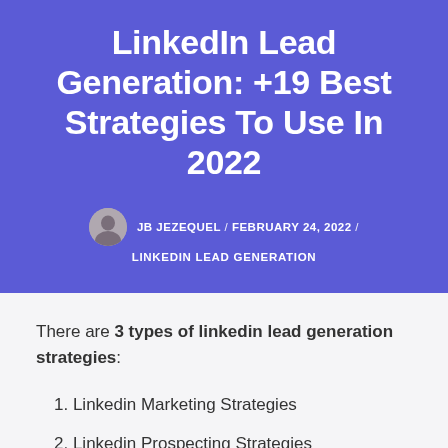LinkedIn Lead Generation: +19 Best Strategies To Use In 2022
JB JEZEQUEL / FEBRUARY 24, 2022 / LINKEDIN LEAD GENERATION
There are 3 types of linkedin lead generation strategies:
1. Linkedin Marketing Strategies
2. Linkedin Prospecting Strategies
3. Linkedin Ads Strategies